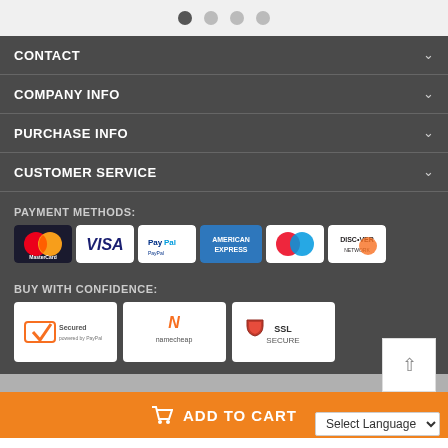Navigation dots (pagination indicator)
CONTACT
COMPANY INFO
PURCHASE INFO
CUSTOMER SERVICE
PAYMENT METHODS:
[Figure (logo): Payment method logos: MasterCard, Visa, PayPal, American Express, Maestro, Discover Network]
BUY WITH CONFIDENCE:
[Figure (logo): Trust badges: Secured powered by PayPal, Namecheap, SSL Secure]
ADD TO CART